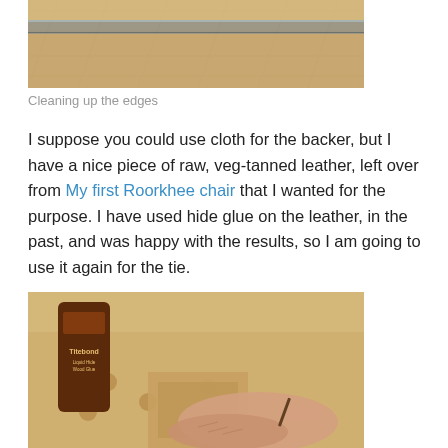[Figure (photo): Close-up of wood edges on a workbench being cleaned up, showing wood grain and metal tools]
Cleaning up the edges
I suppose you could use cloth for the backer, but I have a nice piece of raw, veg-tanned leather, left over from My first Roorkhee chair that I wanted for the purpose. I have used hide glue on the leather, in the past, and was happy with the results, so I am going to use it again for the tie.
[Figure (photo): A hand applying glue to leather on a wooden workbench with a Titebond Liquid Hide Wood Glue bottle visible]